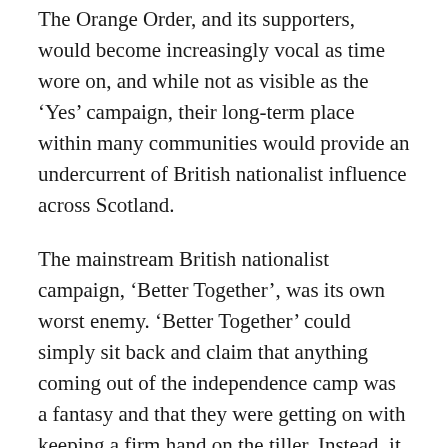The Orange Order, and its supporters, would become increasingly vocal as time wore on, and while not as visible as the ‘Yes’ campaign, their long-term place within many communities would provide an undercurrent of British nationalist influence across Scotland.
The mainstream British nationalist campaign, ‘Better Together’, was its own worst enemy. ‘Better Together’ could simply sit back and claim that anything coming out of the independence camp was a fantasy and that they were getting on with keeping a firm hand on the tiller. Instead, it followed in the footsteps of a Labour Party keen to scare voters away from the SNP.
Condescending, patronising and paternalistic scare stories came out of the ‘Better Together’ camp on what